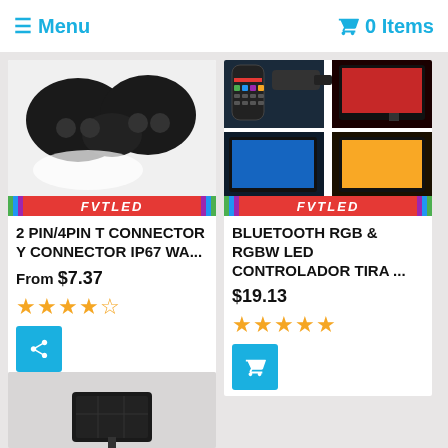≡ Menu   🛒 0 Items
[Figure (photo): Product photo of black 2 PIN/4PIN T connector Y connector IP67 waterproof with FVTLED branding bar at bottom]
2 PIN/4PIN T CONNECTOR Y CONNECTOR IP67 WA...
From $7.37
★★★★☆
[Figure (photo): Product photo collage of Bluetooth RGB & RGBW LED controller with remote and colored lighting examples, FVTLED branding bar at bottom]
BLUETOOTH RGB & RGBW LED CONTROLADOR TIRA ...
$19.13
★★★★★
[Figure (photo): Partial product photo of a black square solar panel device at the bottom of the page]